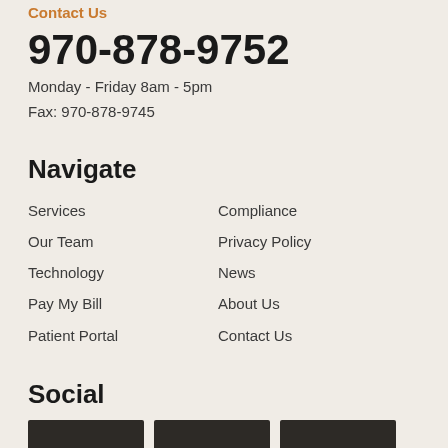Contact Us
970-878-9752
Monday - Friday 8am - 5pm
Fax: 970-878-9745
Navigate
Services
Our Team
Technology
Pay My Bill
Patient Portal
Compliance
Privacy Policy
News
About Us
Contact Us
Social
[Figure (other): Three dark social media icon boxes]